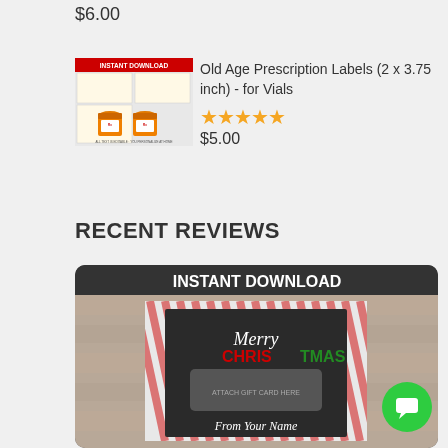$6.00
Old Age Prescription Labels (2 x 3.75 inch) - for Vials
★★★★★
$5.00
RECENT REVIEWS
[Figure (photo): Christmas gift card holder template with 'INSTANT DOWNLOAD' banner, '5x7 GIFT CARD HOLDER' label, candy cane border, 'Merry CHRISTMAS' text in white and green/red, 'ATTACH GIFT CARD HERE' placeholder, and 'From Your Name' signature area on chalkboard background]